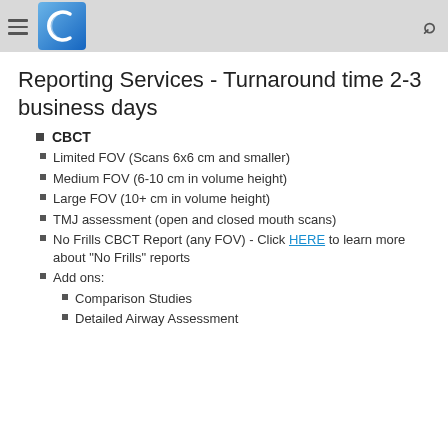Reporting Services - Turnaround time 2-3 business days
CBCT
Limited FOV (Scans 6x6 cm and smaller)
Medium FOV (6-10 cm in volume height)
Large FOV (10+ cm in volume height)
TMJ assessment (open and closed mouth scans)
No Frills CBCT Report (any FOV) - Click HERE to learn more about "No Frills" reports
Add ons:
Comparison Studies
Detailed Airway Assessment